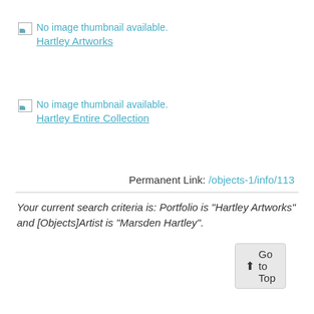[Figure (other): Broken image placeholder icon with text 'No image thumbnail available.' followed by link 'Hartley Artworks']
[Figure (other): Broken image placeholder icon with text 'No image thumbnail available.' followed by link 'Hartley Entire Collection']
Permanent Link: /objects-1/info/113
Your current search criteria is: Portfolio is "Hartley Artworks" and [Objects]Artist is "Marsden Hartley".
Go to Top